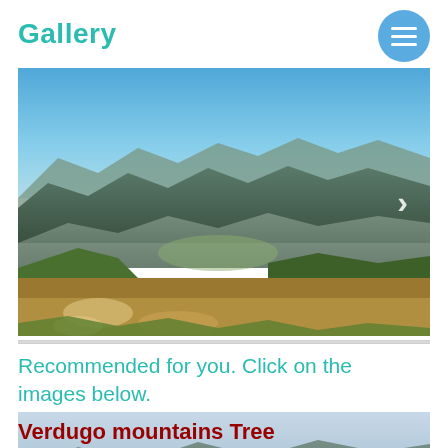Gallery
[Figure (photo): Mountain landscape with green valley and blue sky, viewed from an overlook. Rolling hills with wildflowers in foreground and layered mountain ridges in background. A right-pointing chevron arrow is visible on the right edge.]
Recommended for you. Click on the images below.
[Figure (photo): Verdugo mountains landscape with dark green tree-covered hills, a valley with city visible below, and partly cloudy sky. Text overlay reads 'Verdugo mountains Tree of life' in dark red bold font.]
Verdugo mountains Tree of life